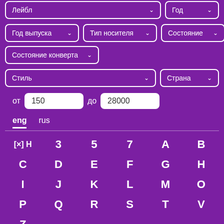[Figure (screenshot): Mobile app filter UI on purple background. Shows partial dropdown fields at top (Лейбл, Год), then rows of dropdowns: Год выпуска, Тип носителя, Состояние; Состояние конверта; Стиль, Страна; price range от 150 до 28000; language tabs eng/rus; letter grid [x]H 3 5 7 A B / C D E F G H / I J K L M O / P Q R S T V / Z]